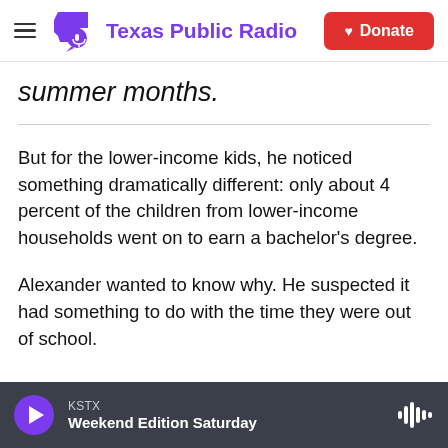Texas Public Radio — Donate
summer months.
But for the lower-income kids, he noticed something dramatically different: only about 4 percent of the children from lower-income households went on to earn a bachelor's degree.
Alexander wanted to know why. He suspected it had something to do with the time they were out of school.
KSTX Weekend Edition Saturday